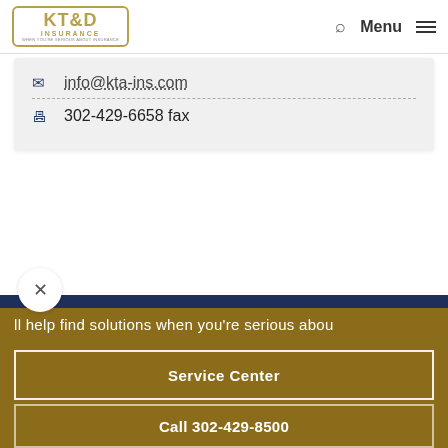[Figure (logo): KT&D Insurance logo with gold border and text]
info@kta-ins.com
302-429-6658 fax
ll help find solutions when you're serious abou
Service Center
Call 302-429-8500